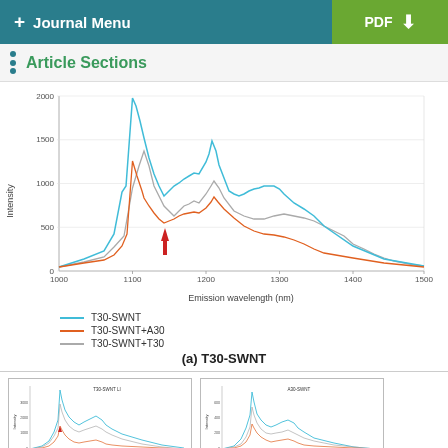+ Journal Menu    PDF ↓
Article Sections
[Figure (continuous-plot): Line chart showing fluorescence emission spectra of T30-SWNT (cyan), T30-SWNT+A30 (orange), and T30-SWNT+T30 (gray) from 1000 to 1500 nm. Peaks at ~1130 nm and ~1200 nm. T30-SWNT has highest intensity (~2050 at 1130 nm). Orange line shows a red arrow marker at ~1150 nm.]
(a) T30-SWNT
[Figure (continuous-plot): Thumbnail version of T30-SWNT emission spectra chart with legend lines for T30-SWNT, T30-SWNT+A30, T30-SWNT+T30]
[Figure (continuous-plot): Thumbnail version of A30-SWNT emission spectra chart with legend lines for A30-SWNT, A30-SWNT+A30C, A30-SWNT+Gsi]